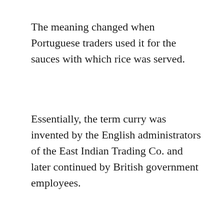The meaning changed when Portuguese traders used it for the sauces with which rice was served.
Essentially, the term curry was invented by the English administrators of the East Indian Trading Co. and later continued by British government employees.